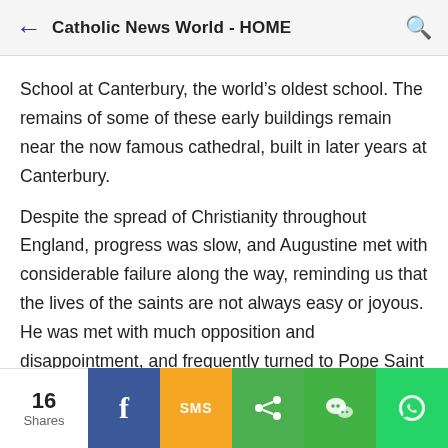Catholic News World - HOME
School at Canterbury, the world’s oldest school. The remains of some of these early buildings remain near the now famous cathedral, built in later years at Canterbury.
Despite the spread of Christianity throughout England, progress was slow, and Augustine met with considerable failure along the way, reminding us that the lives of the saints are not always easy or joyous. He was met with much opposition and disappointment, and frequently turned to Pope Saint Gregory for encouragement and inspiration. Pope Gregory wisely suggested that Augustine work within the customs of the English people (much like Saint Patrick did in
16 Shares  f  SMS  share  WeChat  WhatsApp